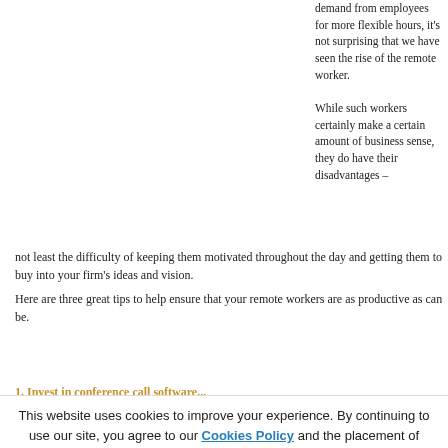demand from employees for more flexible hours, it's not surprising that we have seen the rise of the remote worker.
While such workers certainly make a certain amount of business sense, they do have their disadvantages – not least the difficulty of keeping them motivated throughout the day and getting them to buy into your firm's ideas and vision.
Here are three great tips to help ensure that your remote workers are as productive as can be.
1. Invest in conference call software...
This website uses cookies to improve your experience. By continuing to use our site, you agree to our Cookies Policy and the placement of cookies on your device.